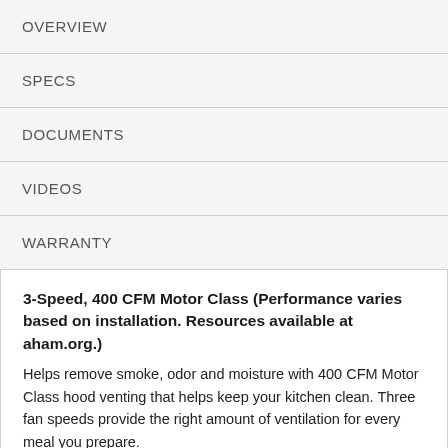OVERVIEW
SPECS
DOCUMENTS
VIDEOS
WARRANTY
3-Speed, 400 CFM Motor Class (Performance varies based on installation. Resources available at aham.org.)
Helps remove smoke, odor and moisture with 400 CFM Motor Class hood venting that helps keep your kitchen clean. Three fan speeds provide the right amount of ventilation for every meal you prepare.
Grease Filter
Help trap unwanted grease and remove odors with a filter that